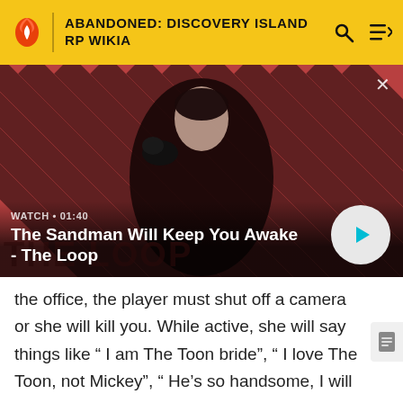ABANDONED: DISCOVERY ISLAND RP WIKIA
[Figure (screenshot): Video thumbnail showing a dark-cloaked figure with a raven on their shoulder against a red and dark diagonal striped background. Overlay text reads WATCH • 01:40 and title The Sandman Will Keep You Awake - The Loop with a play button.]
the office, the player must shut off a camera or she will kill you. While active, she will say things like " I am The Toon bride", " I love The Toon, not Mickey", " He's so handsome, I will kill you for my love" " I hate Mickey Mouse", and " I will give The Toon my present, which is your death"